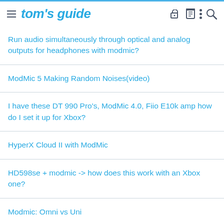tom's guide
Run audio simultaneously through optical and analog outputs for headphones with modmic?
ModMic 5 Making Random Noises(video)
I have these DT 990 Pro's, ModMic 4.0, Fiio E10k amp how do I set it up for Xbox?
HyperX Cloud II with ModMic
HD598se + modmic -> how does this work with an Xbox one?
Modmic: Omni vs Uni